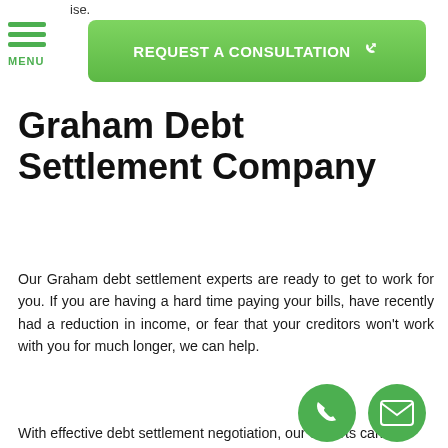ise.
[Figure (screenshot): Green hamburger menu icon with three horizontal lines and MENU label below]
[Figure (screenshot): Green REQUEST A CONSULTATION button with hand pointer icon]
Graham Debt Settlement Company
Our Graham debt settlement experts are ready to get to work for you. If you are having a hard time paying your bills, have recently had a reduction in income, or fear that your creditors won't work with you for much longer, we can help.
With effective debt settlement negotiation, our experts can
[Figure (illustration): Green phone circle icon at bottom right]
[Figure (illustration): Green email envelope circle icon at bottom right]